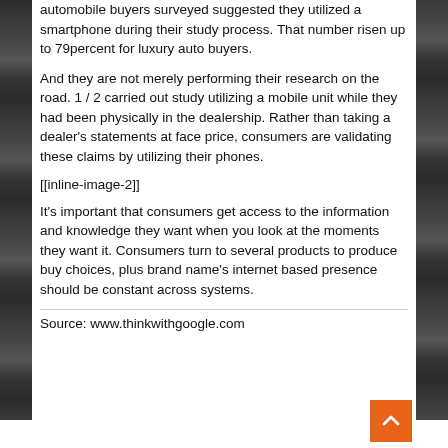automobile buyers surveyed suggested they utilized a smartphone during their study process. That number risen up to 79percent for luxury auto buyers.
And they are not merely performing their research on the road. 1 / 2 carried out study utilizing a mobile unit while they had been physically in the dealership. Rather than taking a dealer's statements at face price, consumers are validating these claims by utilizing their phones.
[Figure (other): Inline image placeholder [[inline-image-2]]]
It's important that consumers get access to the information and knowledge they want when you look at the moments they want it. Consumers turn to several products to produce buy choices, plus brand name's internet based presence should be constant across systems.
Source: www.thinkwithgoogle.com